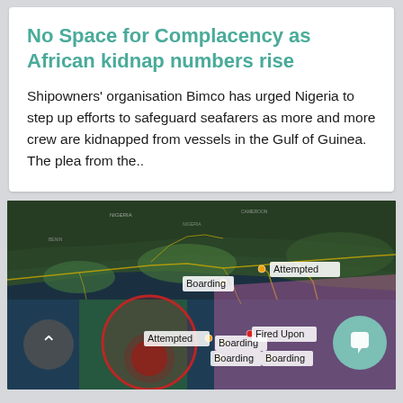No Space for Complacency as African kidnap numbers rise
Shipowners' organisation Bimco has urged Nigeria to step up efforts to safeguard seafarers as more and more crew are kidnapped from vessels in the Gulf of Guinea. The plea from the..
[Figure (map): Maritime map of the Gulf of Guinea coastline showing incident markers labeled 'Attempted', 'Boarding', and 'Fired Upon'. The map displays a dark green land mass, blue sea area, yellow route lines, a red circular zone, and a pink/mauve shaded region indicating risk areas. Multiple incident label tags are visible near the coastline.]